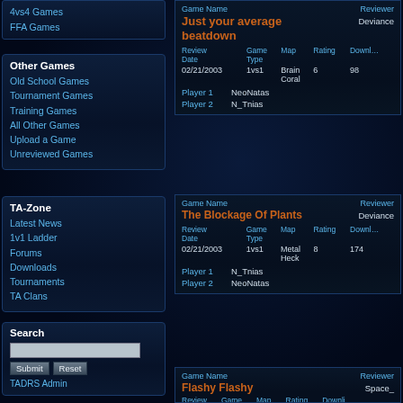4vs4 Games
FFA Games
Other Games
Old School Games
Tournament Games
Training Games
All Other Games
Upload a Game
Unreviewed Games
| Game Name | Reviewer | Review Date | Game Type | Map | Rating | Downloads |
| --- | --- | --- | --- | --- | --- | --- |
| Just your average beatdown | Deviance | 02/21/2003 | 1vs1 | Brain Coral | 6 | 98 |
| Player 1 | NeoNatas |
| Player 2 | N_Tnias |
TA-Zone
Latest News
1v1 Ladder
Forums
Downloads
Tournaments
TA Clans
| Game Name | Reviewer | Review Date | Game Type | Map | Rating | Downloads |
| --- | --- | --- | --- | --- | --- | --- |
| The Blockage Of Plants | Deviance | 02/21/2003 | 1vs1 | Metal Heck | 8 | 174 |
| Player 1 | N_Tnias |
| Player 2 | NeoNatas |
Search
Submit Reset
TADRS Admin
| Game Name | Reviewer | Review Date | Game Type | Map | Rating | Downloads |
| --- | --- | --- | --- | --- | --- | --- |
| Flashy Flashy | Space_ |